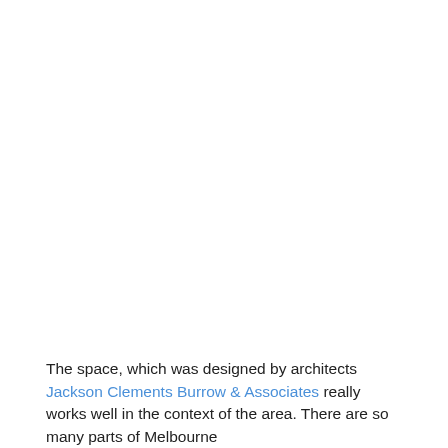The space, which was designed by architects Jackson Clements Burrow & Associates really works well in the context of the area. There are so many parts of Melbourne